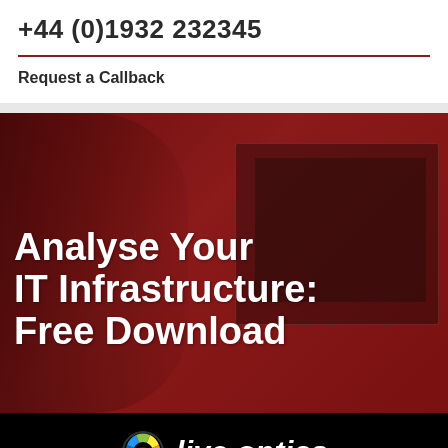+44 (0)1932 232345
Request a Callback
[Figure (infographic): Promotional banner with dark red background showing a person at a computer monitor. Large white bold text reads: Analyse Your IT Infrastructure: Free Download. Bottom black bar contains the Live Optics logo with colorful circular icon and italic white text 'live optics'.]